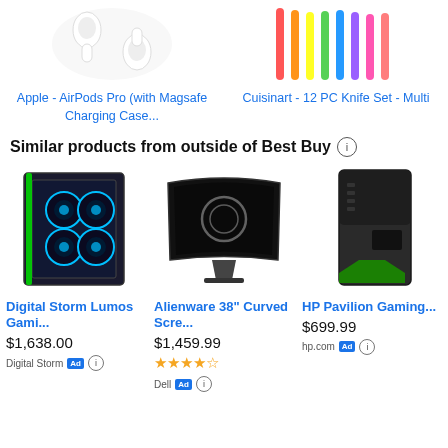[Figure (photo): Apple AirPods Pro with Magsafe Charging Case product image (white earbuds)]
Apple - AirPods Pro (with Magsafe Charging Case...
[Figure (photo): Cuisinart 12 PC Knife Set - Multi colored knives product image]
Cuisinart - 12 PC Knife Set - Multi
Similar products from outside of Best Buy ⓘ
[Figure (photo): Digital Storm Lumos Gaming PC case with blue RGB fans and green accents]
Digital Storm Lumos Gami...
$1,638.00
Digital Storm Ad ⓘ
[Figure (photo): Alienware 38 inch Curved Screen gaming monitor with alien logo]
Alienware 38" Curved Scre...
$1,459.99
Dell Ad ⓘ
[Figure (photo): HP Pavilion Gaming desktop tower PC in black with green accent]
HP Pavilion Gaming...
$699.99
hp.com Ad ⓘ